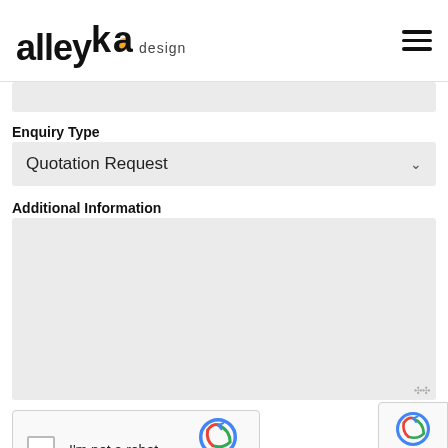[Figure (logo): alleykat design logo with orange dot on the 'a' in 'kat', and a hamburger menu icon on the right]
Enquiry Type
Quotation Request
Additional Information
[Figure (screenshot): reCAPTCHA widget with checkbox, 'I'm not a robot' label, reCAPTCHA logo, Privacy and Terms links]
[Figure (screenshot): reCAPTCHA badge overlay on right edge showing reCAPTCHA icon and Privacy - Terms text]